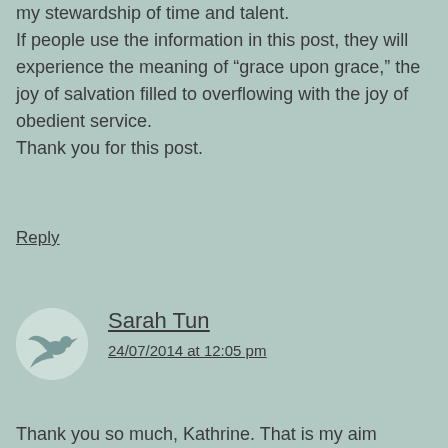my stewardship of time and talent. If people use the information in this post, they will experience the meaning of “grace upon grace,” the joy of salvation filled to overflowing with the joy of obedient service. Thank you for this post.
Reply
Sarah Tun
24/07/2014 at 12:05 pm
Thank you so much, Kathrine. That is my aim